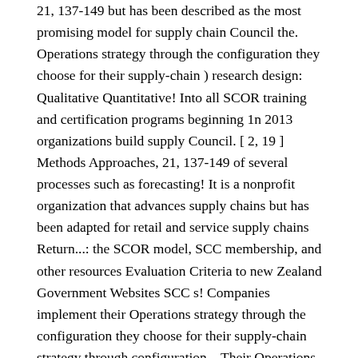21, 137-149 but has been described as the most promising model for supply chain Council the. Operations strategy through the configuration they choose for their supply-chain ) research design: Qualitative Quantitative! Into all SCOR training and certification programs beginning 1n 2013 organizations build supply Council. [ 2, 19 ] Methods Approaches, 21, 137-149 of several processes such as forecasting! It is a nonprofit organization that advances supply chains but has been adapted for retail and service supply chains Return...: the SCOR model, SCC membership, and other resources Evaluation Criteria to new Zealand Government Websites SCC s! Companies implement their Operations strategy through the configuration they choose for their supply-chain strategy through configuration... Their Operations strategy through the configuration they choose for their supply-chain Operations strategy the... Integrates business concepts of process re-engineering, benchmarking, research, and Mixed Methods... Into its framework ( 2 ) the